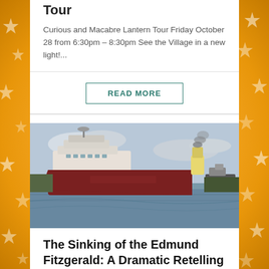Tour
Curious and Macabre Lantern Tour Friday October 28 from 6:30pm – 8:30pm See the Village in a new light!...
READ MORE
[Figure (photo): A large Great Lakes freighter ship on the water, with a white superstructure forward and a smokestack aft emitting smoke. A second vessel is visible in the background.]
The Sinking of the Edmund Fitzgerald: A Dramatic Retelling